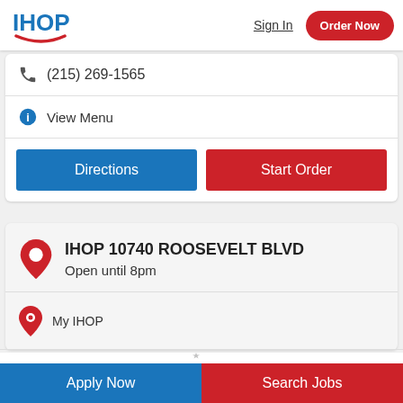[Figure (logo): IHOP logo in blue with red smile underline]
Sign In
Order Now
(215) 269-1565
View Menu
Directions
Start Order
IHOP 10740 ROOSEVELT BLVD
Open until 8pm
My IHOP
Apply Now   Search Jobs